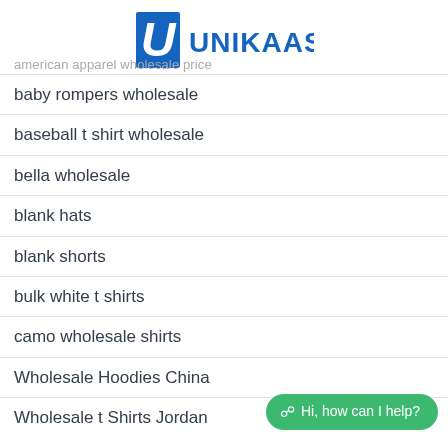[Figure (logo): UNIKAAS logo with blue U icon and blue text]
american apparel wholesale price
baby rompers wholesale
baseball t shirt wholesale
bella wholesale
blank hats
blank shorts
bulk white t shirts
camo wholesale shirts
Wholesale Hoodies China
Wholesale t Shirts Jordan